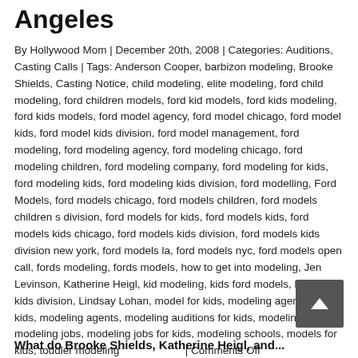Angeles
By Hollywood Mom | December 20th, 2008 | Categories: Auditions, Casting Calls | Tags: Anderson Cooper, barbizon modeling, Brooke Shields, Casting Notice, child modeling, elite modeling, ford child modeling, ford children models, ford kid models, ford kids modeling, ford kids models, ford model agency, ford model chicago, ford model kids, ford model kids division, ford model management, ford modeling, ford modeling agency, ford modeling chicago, ford modeling children, ford modeling company, ford modeling for kids, ford modeling kids, ford modeling kids division, ford modelling, Ford Models, ford models chicago, ford models children, ford models children s division, ford models for kids, ford models kids, ford models kids chicago, ford models kids division, ford models kids division new york, ford models la, ford models nyc, ford models open call, fords modeling, fords models, how to get into modeling, Jen Levinson, Katherine Heigl, kid modeling, kids ford models, la models kids division, Lindsay Lohan, model for kids, modeling agencies for kids, modeling agents, modeling auditions for kids, modeling for kids, modeling jobs, modeling jobs for kids, modeling schools, models for kids, toddler modeling | Comments Off
What do Brooke Shields, Katherine Heigl, and...